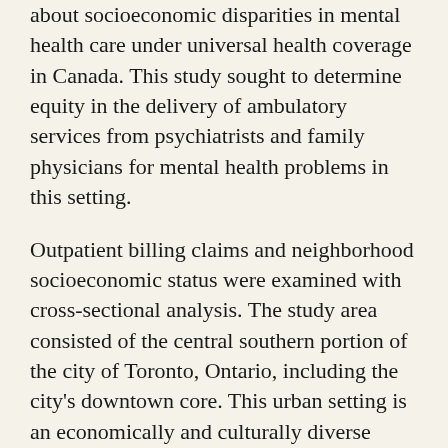about socioeconomic disparities in mental health care under universal health coverage in Canada. This study sought to determine equity in the delivery of ambulatory services from psychiatrists and family physicians for mental health problems in this setting.
Outpatient billing claims and neighborhood socioeconomic status were examined with cross-sectional analysis. The study area consisted of the central southern portion of the city of Toronto, Ontario, including the city's downtown core. This urban setting is an economically and culturally diverse area. A total of 1,221 homogeneous enumeration areas (local neighborhoods) were surveyed, and data were examined for the 746,141 residents of these areas who had had a health visit in 2000. Rates of mental health visits to family physicians and psychiatrists were compared across socioeconomic quintiles. Socioeconomic status was determined according to educational attainment in